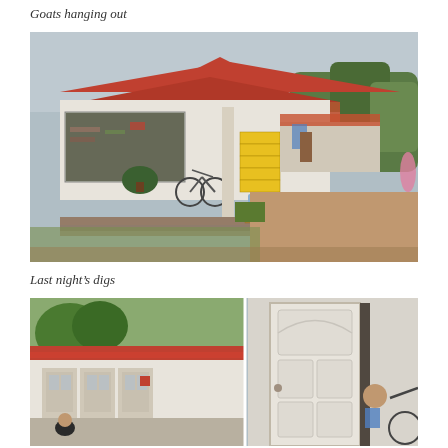Goats hanging out
[Figure (photo): Exterior view of a small Thai shop/store with red roof, yellow plastic crates stacked outside, a bicycle leaning against a post, dirt road to the right, overcast sky]
Last night's digs
[Figure (photo): Two-part image: left side shows a row of motel/guesthouse rooms with white walls and red trim, a person crouching on the patio; right side shows a close-up of a white ornate door slightly ajar with a child peeking behind it and a bicycle visible]